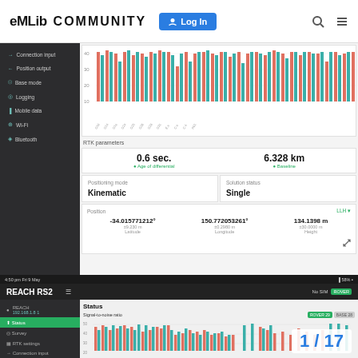EMLID COMMUNITY  Log In
[Figure (grouped-bar-chart): Grouped bar chart showing signal-to-noise ratio with orange and teal bars for multiple satellite channels]
RTK parameters
| Age of differential | Baseline |
| --- | --- |
| 0.6 sec. | 6.328 km |
| Positioning mode | Solution status |
| --- | --- |
| Kinematic | Single |
| Position | LLH |
| --- | --- |
| -34.015771212° | 150.772053261° | 134.1398 m |
[Figure (screenshot): Emlid Reach RS2 app interface showing status screen with signal-to-noise ratio bar chart]
1 / 17